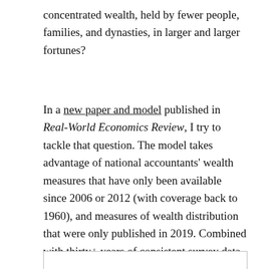concentrated wealth, held by fewer people, families, and dynasties, in larger and larger fortunes?
In a new paper and model published in Real-World Economics Review, I try to tackle that question. The model takes advantage of national accountants' wealth measures that have only been available since 2006 or 2012 (with coverage back to 1960), and measures of wealth distribution that were only published in 2019. Combined with thirty+ years of consistent survey data on consumer spending at different income levels, the paper derives a novel economic measure: velocity of wealth.